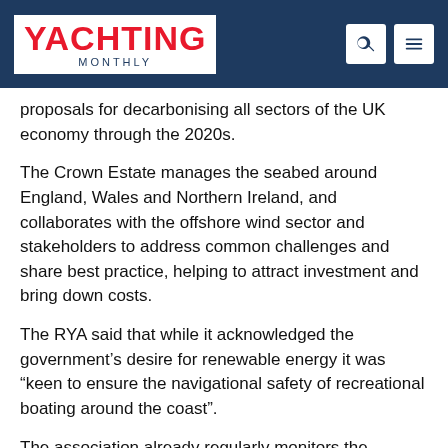YACHTING MONTHLY
proposals for decarbonising all sectors of the UK economy through the 2020s.
The Crown Estate manages the seabed around England, Wales and Northern Ireland, and collaborates with the offshore wind sector and stakeholders to address common challenges and share best practice, helping to attract investment and bring down costs.
The RYA said that while it acknowledged the government's desire for renewable energy it was “keen to ensure the navigational safety of recreational boating around the coast”.
The association already regularly monitors the development of seabed areas leased by The Crown Estate to assess the potential impact on sailors, and meets with